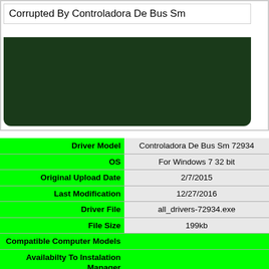Corrupted By Controladora De Bus Sm
[Figure (screenshot): Dark green rounded rectangle box below the text header]
| Driver Model |  |
| --- | --- |
| OS |  |
| Original Upload Date |  |
| Last Modification |  |
| Driver File |  |
| File Size |  |
| Compatible Computer Models |  |
| Availabilty To Instalation Manager |  |
|  | Controladora De Bus Sm 72934 |
|  | For Windows 7 32 bit |
|  | 2/7/2015 |
|  | 12/27/2016 |
|  | all_drivers-72934.exe |
|  | 199kb |
|  | NEO PC VY89XPYEAAEM, Toshiba SATELLITE PRO C50-A-1-J1 |